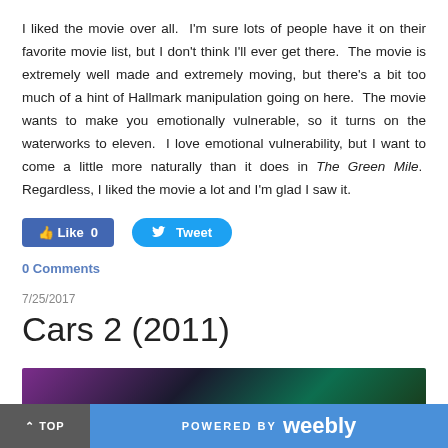I liked the movie over all.  I'm sure lots of people have it on their favorite movie list, but I don't think I'll ever get there.  The movie is extremely well made and extremely moving, but there's a bit too much of a hint of Hallmark manipulation going on here.  The movie wants to make you emotionally vulnerable, so it turns on the waterworks to eleven.  I love emotional vulnerability, but I want to come a little more naturally than it does in The Green Mile.  Regardless, I liked the movie a lot and I'm glad I saw it.
[Figure (screenshot): Facebook Like button showing 'Like 0' and Twitter Tweet button]
0 Comments
7/25/2017
Cars 2 (2011)
[Figure (photo): Movie image with dark purple, teal, and green colors]
^ TOP   POWERED BY weebly